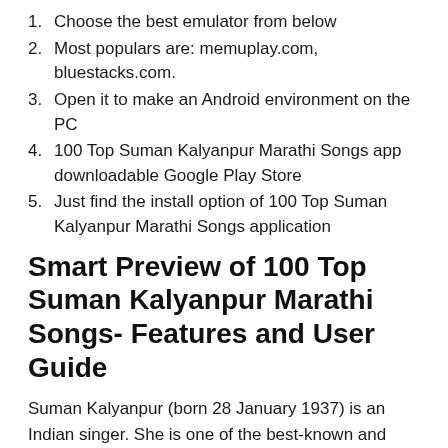1. Choose the best emulator from below
2. Most populars are: memuplay.com, bluestacks.com.
3. Open it to make an Android environment on the PC
4. 100 Top Suman Kalyanpur Marathi Songs app downloadable Google Play Store
5. Just find the install option of 100 Top Suman Kalyanpur Marathi Songs application
Smart Preview of 100 Top Suman Kalyanpur Marathi Songs- Features and User Guide
Suman Kalyanpur (born 28 January 1937) is an Indian singer. She is one of the best-known and most respected playback singers in India. She succeeded in achieving recognition of her own during the years of Lata Mangeshkar's monopoly and sang under the baton of almost all the top composers of the period. Many people believe that she could not reach the